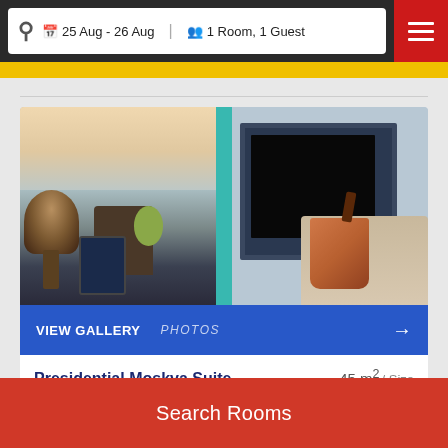25 Aug - 26 Aug  1 Room, 1 Guest
[Figure (photo): Hotel room photo collage showing a luxury suite interior with a lamp, lounge chair, tablet on table on the left panel, and a wall-mounted TV, chair with handbag on right panel, separated by a teal divider]
VIEW GALLERY  PHOTOS →
Presidential Moskva Suite   45 m² / Size
Search Rooms